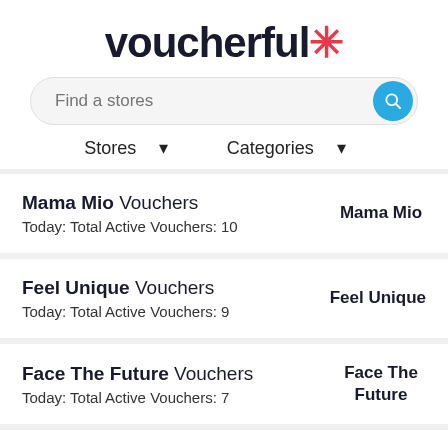voucherful*
[Figure (screenshot): Search bar with placeholder text 'Find a stores' and a blue circular search button]
Stores ▾   Categories ▾
Mama Mio Vouchers | Today: Total Active Vouchers: 10 | Mama Mio
Feel Unique Vouchers | Today: Total Active Vouchers: 9 | Feel Unique
Face The Future Vouchers | Today: Total Active Vouchers: 7 | Face The Future
Cult Beauty Vouchers | Cult Beauty